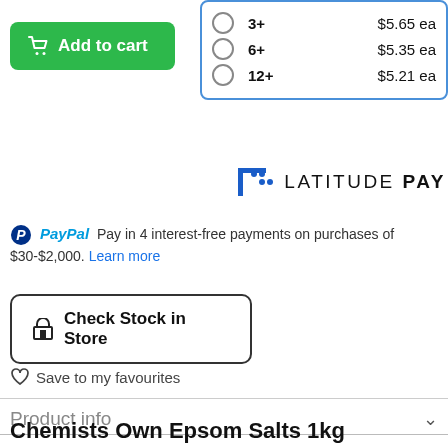| Select | Qty | Price |
| --- | --- | --- |
| ○ | 3+ | $5.65 ea |
| ○ | 6+ | $5.35 ea |
| ○ | 12+ | $5.21 ea |
[Figure (logo): LatitudePay logo with bracket dots symbol and LATITUDE PAY wordmark]
PayPal Pay in 4 interest-free payments on purchases of $30-$2,000. Learn more
Check Stock in Store
Save to my favourites
Product info
Chemists Own Epsom Salts 1kg